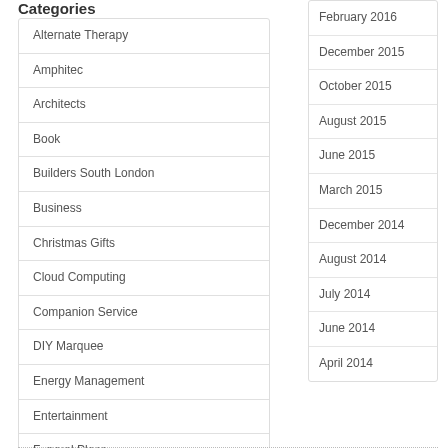Categories
Alternate Therapy
Amphitec
Architects
Book
Builders South London
Business
Christmas Gifts
Cloud Computing
Companion Service
DIY Marquee
Energy Management
Entertainment
Funeral Plans
February 2016
December 2015
October 2015
August 2015
June 2015
March 2015
December 2014
August 2014
July 2014
June 2014
April 2014